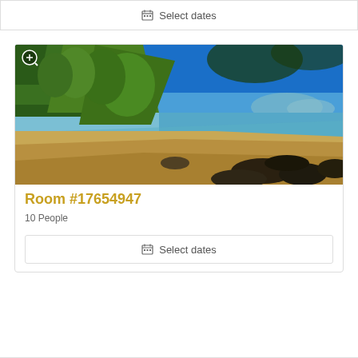Select dates
[Figure (photo): Beach scene with clear blue sky, green tropical trees on the left, sandy beach curving into calm turquoise water, with dark rocks in the foreground right and distant hills on the horizon.]
Room #17654947
10 People
Select dates